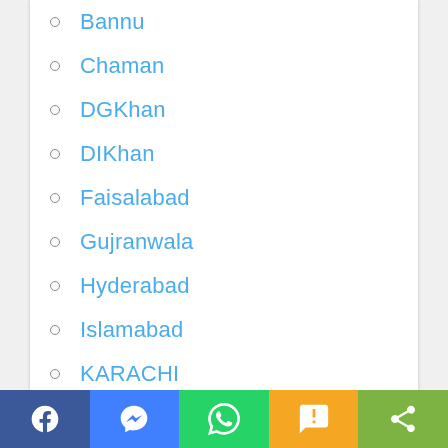Bannu
Chaman
DGKhan
DIKhan
Faisalabad
Gujranwala
Hyderabad
Islamabad
KARACHI
Kohat
Lahore
Mardan
Multan
Facebook | Messenger | WhatsApp | SMS | Share